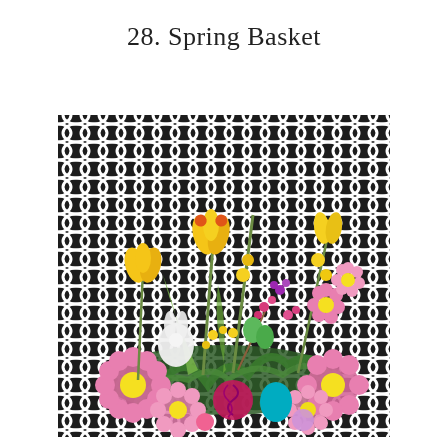28. Spring Basket
[Figure (photo): A colorful spring floral arrangement in a basket featuring pink daisies, yellow tulips and freesias, green Easter eggs, pink and teal decorative balls, berry stems, green foliage, and a white bunny figure, set against a black and white geometric lattice background.]